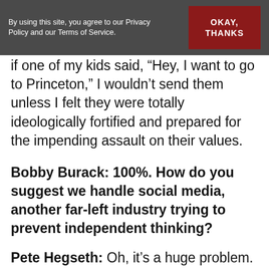By using this site, you agree to our Privacy Policy and our Terms of Service.  OKAY, THANKS
if one of my kids said, 'Hey, I want to go to Princeton,' I wouldn't send them unless I felt they were totally ideologically fortified and prepared for the impending assault on their values.
Bobby Burack: 100%. How do you suggest we handle social media, another far-left industry trying to prevent independent thinking?
Pete Hegseth: Oh, it's a huge problem. Left-wing social media guards enforce almost North Korean-style groupthink. It's why the president has been so important, not just for our country, but for me